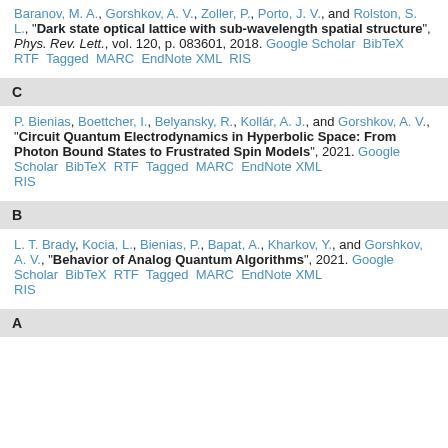Baranov, M. A., Gorshkov, A. V., Zoller, P., Porto, J. V., and Rolston, S. L., "Dark state optical lattice with sub-wavelength spatial structure", Phys. Rev. Lett., vol. 120, p. 083601, 2018. Google Scholar BibTeX RTF Tagged MARC EndNote XML RIS
C
P. Bienias, Boettcher, I., Belyansky, R., Kollár, A. J., and Gorshkov, A. V., "Circuit Quantum Electrodynamics in Hyperbolic Space: From Photon Bound States to Frustrated Spin Models", 2021. Google Scholar BibTeX RTF Tagged MARC EndNote XML RIS
B
L. T. Brady, Kocia, L., Bienias, P., Bapat, A., Kharkov, Y., and Gorshkov, A. V., "Behavior of Analog Quantum Algorithms", 2021. Google Scholar BibTeX RTF Tagged MARC EndNote XML RIS
A